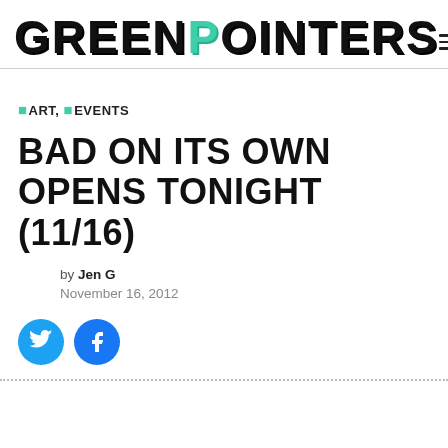GREENPOINTERS
Menu
ART, EVENTS
BAD ON ITS OWN OPENS TONIGHT (11/16)
by Jen G
November 16, 2012
[Figure (other): Twitter and Facebook share icon buttons (blue circles with bird and f logos)]